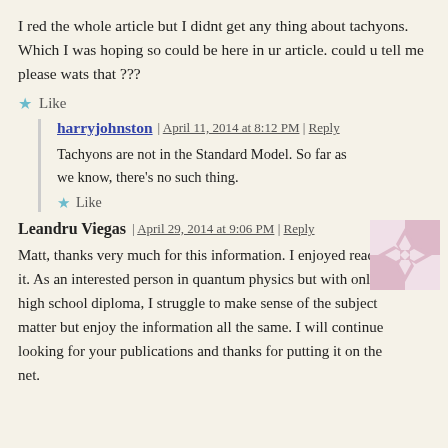I red the whole article but I didnt get any thing about tachyons. Which I was hoping so could be here in ur article. could u tell me please wats that ???
★ Like
harryjohnston | April 11, 2014 at 8:12 PM | Reply
Tachyons are not in the Standard Model. So far as we know, there's no such thing.
★ Like
Leandru Viegas | April 29, 2014 at 9:06 PM | Reply
Matt, thanks very much for this information. I enjoyed reading it. As an interested person in quantum physics but with only a high school diploma, I struggle to make sense of the subject matter but enjoy the information all the same. I will continue looking for your publications and thanks for putting it on the net.